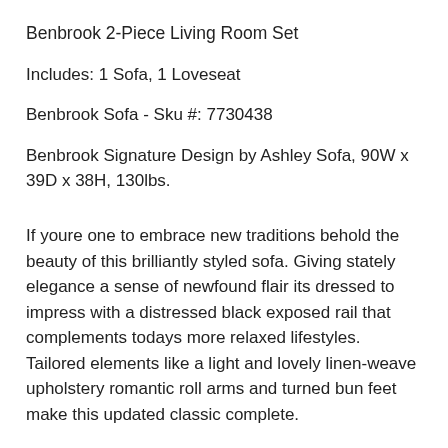Benbrook 2-Piece Living Room Set
Includes: 1 Sofa, 1 Loveseat
Benbrook Sofa - Sku #: 7730438
Benbrook Signature Design by Ashley Sofa, 90W x 39D x 38H, 130lbs.
If youre one to embrace new traditions behold the beauty of this brilliantly styled sofa. Giving stately elegance a sense of newfound flair its dressed to impress with a distressed black exposed rail that complements todays more relaxed lifestyles. Tailored elements like a light and lovely linen-weave upholstery romantic roll arms and turned bun feet make this updated classic complete.
Benbrook Loveseat - Sku #: 7730435